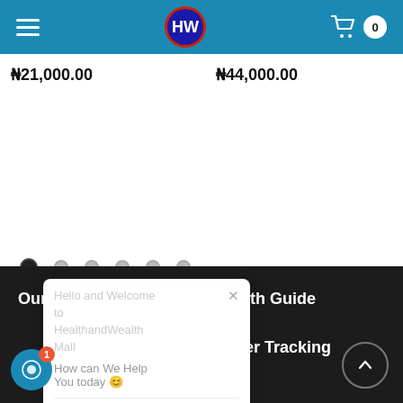[Figure (screenshot): Navigation bar with hamburger menu, HW logo, and cart icon showing 0 items]
₦21,000.00
₦44,000.00
[Figure (other): Pagination dots — 6 dots with first one active/filled]
[Figure (screenshot): Chat popup: Hello and Welcome to HealthandWealth Mall. How can We Help You today 😊. With input row showing avatar, edit icon, emoji icon.]
Our Company
Health Guide
act Us
Order Tracking